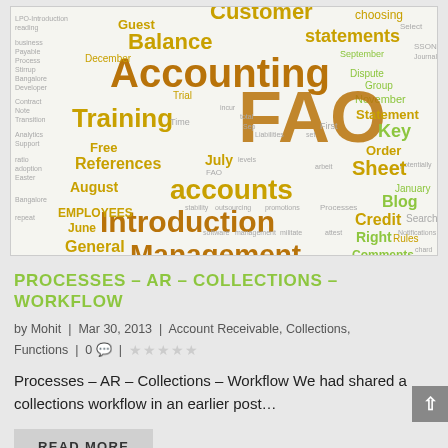[Figure (infographic): Word cloud featuring accounting and finance related terms including: Customer, Balance, Accounting, FAO, accounts, Introduction, Management, Training, References, EMPLOYEES, General, Software, Posts, accounting, Statement, Credit, Comments, Books, Blog, Key, Sheet, Payable, Trial, Free, August, June, February, March, July, January, April, October, November, September, December, Group, Dispute, Order, Rules, Right, Functions, Processes, Transition, Contract, Analytics, Support, Bangalore, Developer, Finance, LPO, Setup, Vendor, Transformation, Spend, Equity, Demand, Notifications, Search]
PROCESSES – AR – COLLECTIONS – WORKFLOW
by Mohit | Mar 30, 2013 | Account Receivable, Collections, Functions | 0 💬 |
Processes – AR – Collections – Workflow We had shared a collections workflow in an earlier post…
READ MORE